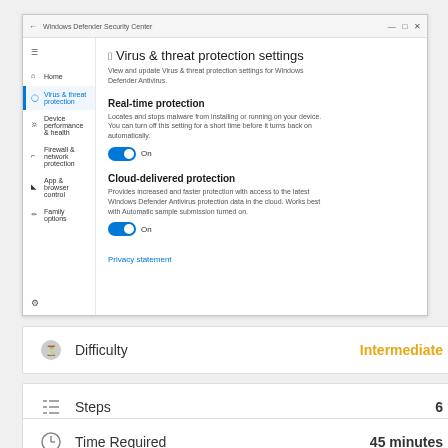[Figure (screenshot): Windows Defender Security Center screenshot showing Virus & threat protection settings with Real-time protection (On) and Cloud-delivered protection (On) toggles, plus a Privacy statement link. Left nav includes Home, Virus & threat protection (active), Device performance & health, Firewall & network protection, App & browser control, Family options.]
| Attribute | Value |
| --- | --- |
| Difficulty | Intermediate |
| Steps | 6 |
| Time Required | 45 minutes |